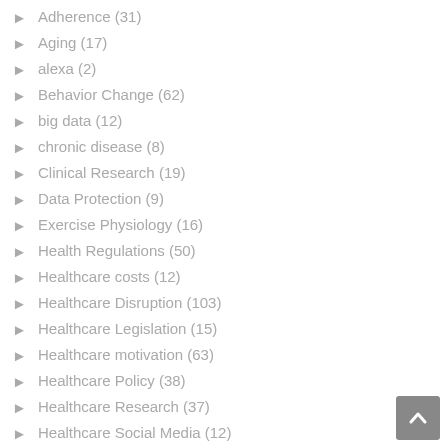Adherence (31)
Aging (17)
alexa (2)
Behavior Change (62)
big data (12)
chronic disease (8)
Clinical Research (19)
Data Protection (9)
Exercise Physiology (16)
Health Regulations (50)
Healthcare costs (12)
Healthcare Disruption (103)
Healthcare Legislation (15)
Healthcare motivation (63)
Healthcare Policy (38)
Healthcare Research (37)
Healthcare Social Media (12)